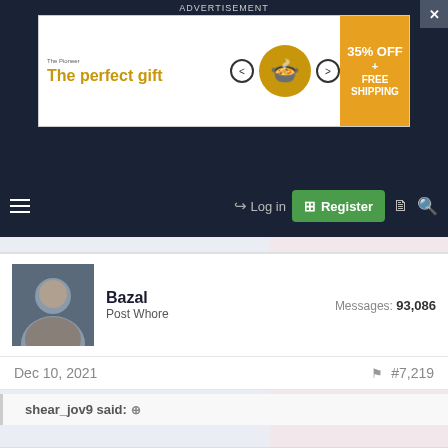ADVERTISEMENT
[Figure (infographic): Advertisement banner for The Pioneer Woman or similar cooking gift brand. Shows text 'The perfect gift', a food bowl image, navigation arrows, and '35% OFF + FREE SHIPPING' offer.]
Log in  Register
[Figure (screenshot): Forum page content area with two panels: left light blue-gray, right light pink.]
Bazal
Post Whore
Messages: 93,086
Dec 10, 2021  #7,219
shear_jov9 said: